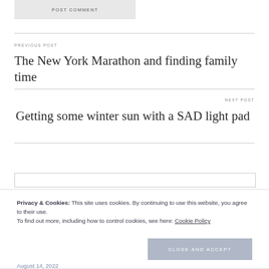POST COMMENT
PREVIOUS POST
The New York Marathon and finding family time
NEXT POST
Getting some winter sun with a SAD light pad
Privacy & Cookies: This site uses cookies. By continuing to use this website, you agree to their use.
To find out more, including how to control cookies, see here: Cookie Policy
Close and accept
August 14, 2022